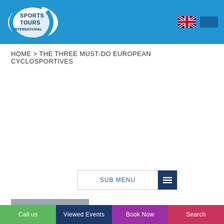[Figure (logo): Sports Tours International logo — white oval with blue crescent and text SPORTS TOURS INTERNATIONAL on blue header background]
[Figure (illustration): UK Union Jack flag icon in top-right of header]
HOME > THE THREE MUST-DO EUROPEAN CYCLOSPORTIVES
SUB MENU
16 Apr / 2018
Call us | Viewed Events | Book Now | Search